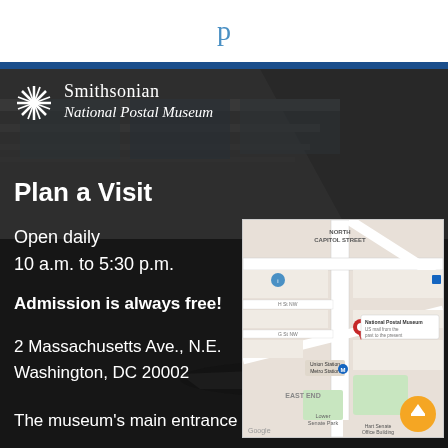p
[Figure (photo): Smithsonian National Postal Museum interior building photo with dark overlay, showing large glass ceiling and atrium structure]
Smithsonian
National Postal Museum
Plan a Visit
Open daily
10 a.m. to 5:30 p.m.
Admission is always free!
2 Massachusetts Ave., N.E.
Washington, DC 20002
[Figure (map): Google Maps showing National Postal Museum location near North Capitol Street and Union Station Metro Station, East End Washington DC]
The museum's main entrance